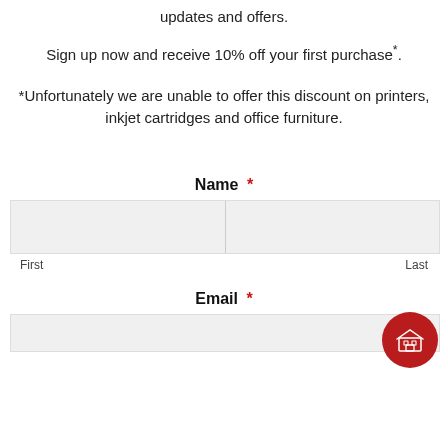updates and offers.
Sign up now and receive 10% off your first purchase*.
*Unfortunately we are unable to offer this discount on printers, inkjet cartridges and office furniture.
Name *
First
Last
Email *